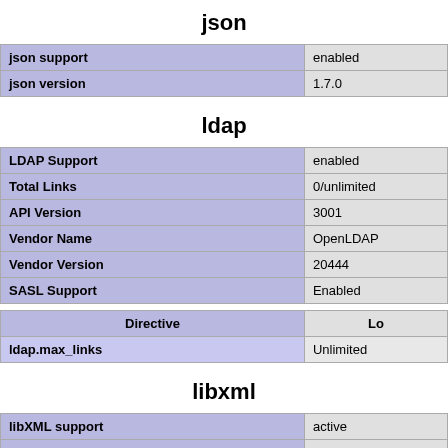json
| json support | enabled |
| json version | 1.7.0 |
ldap
| LDAP Support | enabled |
| Total Links | 0/unlimited |
| API Version | 3001 |
| Vendor Name | OpenLDAP |
| Vendor Version | 20444 |
| SASL Support | Enabled |
| Directive | Lo |
| --- | --- |
| ldap.max_links | Unlimited |
libxml
| libXML support | active |
| libXML Compiled Version | 2.9.7 |